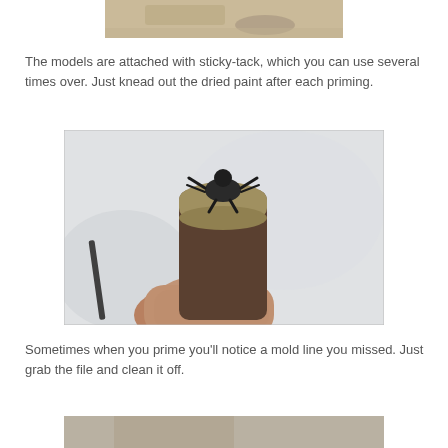[Figure (photo): Top portion of photo showing a surface with paint marks, partially cropped at top of page]
The models are attached with sticky-tack, which you can use several times over.  Just knead out the dried paint after each priming.
[Figure (photo): Close-up photo of a small dark miniature figure (appears to be a frog or creature) mounted on the end of a cork or tube, held by fingers against a blurred background]
Sometimes when you prime you'll notice a mold line you missed.  Just grab the file and clean it off.
[Figure (photo): Bottom portion of another photo, partially cropped at bottom of page]